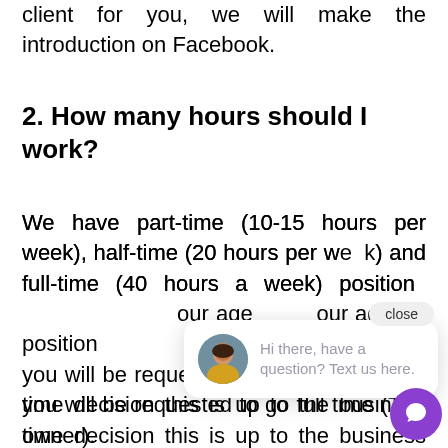client for you, we will make the introduction on Facebook.
2. How many hours should I work?
We have part-time (10-15 hours per week), half-time (20 hours per week) and full-time (40 hours a week) positions available. Most VAs start with our agency at a part-time or half-time position to start, if you start at part-time, eventually you will be requested to go full time (The time decision this is up to the business owner).
[Figure (screenshot): Chat popup widget with avatar of a woman in yellow, message 'Hi there, have a question? Text us here.' and a close button. A purple circular chat icon button is at bottom right.]